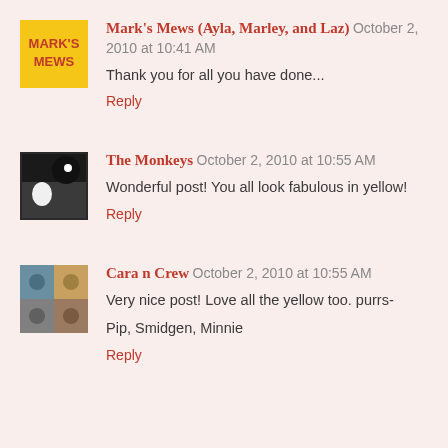Mark's Mews (Ayla, Marley, and Laz)  October 2, 2010 at 10:41 AM
Thank you for all you have done...
Reply
The Monkeys  October 2, 2010 at 10:55 AM
Wonderful post! You all look fabulous in yellow!
Reply
Cara n Crew  October 2, 2010 at 10:55 AM
Very nice post! Love all the yellow too. purrs-

Pip, Smidgen, Minnie
Reply